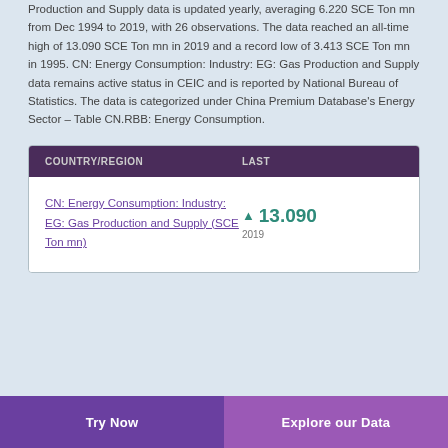Production and Supply data is updated yearly, averaging 6.220 SCE Ton mn from Dec 1994 to 2019, with 26 observations. The data reached an all-time high of 13.090 SCE Ton mn in 2019 and a record low of 3.413 SCE Ton mn in 1995. CN: Energy Consumption: Industry: EG: Gas Production and Supply data remains active status in CEIC and is reported by National Bureau of Statistics. The data is categorized under China Premium Database's Energy Sector – Table CN.RBB: Energy Consumption.
| COUNTRY/REGION | LAST |
| --- | --- |
| CN: Energy Consumption: Industry: EG: Gas Production and Supply (SCE Ton mn) | ▲ 13.090
2019 |
Try Now    Explore our Data